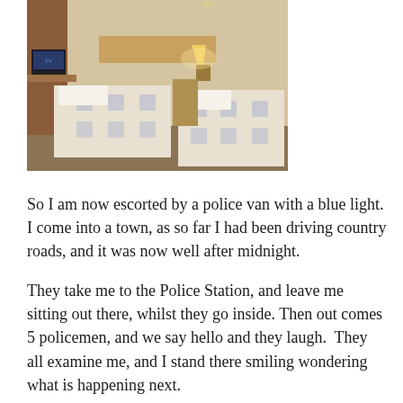[Figure (photo): Hotel room with two single beds with white/blue patterned bedspreads, wooden headboard, bedside lamp, and TV on desk in background]
So I am now escorted by a police van with a blue light. I come into a town, as so far I had been driving country roads, and it was now well after midnight.
They take me to the Police Station, and leave me sitting out there, whilst they go inside. Then out comes 5 policemen, and we say hello and they laugh.  They all examine me, and I stand there smiling wondering what is happening next.
They get more police who also come and inspect me, and finally a different 4 policemen,  in two vehicles,